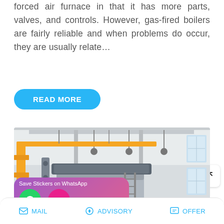forced air furnace in that it has more parts, valves, and controls. However, gas-fired boilers are fairly reliable and when problems do occur, they are usually relate…
READ MORE
[Figure (photo): Interior of an industrial facility showing overhead yellow crane rails, pipe fittings hanging from ceiling, large cylindrical boiler/pressure vessel with ladder, steel ductwork and copper pipes.]
Save Stickers on WhatsApp
MAIL   ADVISORY   OFFER